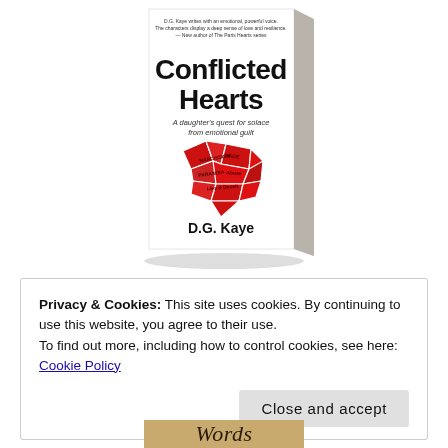[Figure (photo): 3D book cover of 'Conflicted Hearts' by D.G. Kaye. White cover with large bold black title, subtitle 'A daughter's quest for solace from emotional guilt', a shattered red heart graphic in the center, and author name at bottom.]
Privacy & Cookies: This site uses cookies. By continuing to use this website, you agree to their use.
To find out more, including how to control cookies, see here: Cookie Policy
Close and accept
[Figure (photo): Partial view of another book or image at the bottom showing cursive text 'Words']